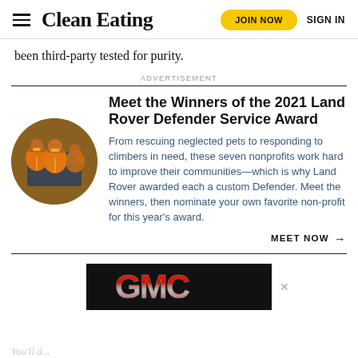Clean Eating  JOIN NOW  SIGN IN
been third-party tested for purity.
ADVERTISEMENT
Meet the Winners of the 2021 Land Rover Defender Service Award
[Figure (photo): Circular photo of people in orange jackets outdoors with a vehicle in the background]
From rescuing neglected pets to responding to climbers in need, these seven nonprofits work hard to improve their communities—which is why Land Rover awarded each a custom Defender. Meet the winners, then nominate your own favorite non-profit for this year's award.
MEET NOW →
[Figure (logo): GMC logo on black background advertisement banner]